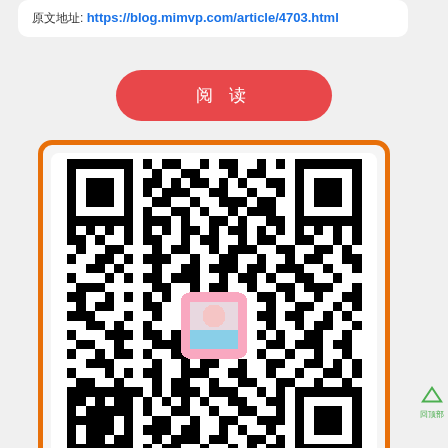原文地址: https://blog.mimvp.com/article/4703.html
[Figure (other): Red rounded button with Chinese characters 阅 读]
[Figure (other): QR code with orange border and baby photo in center, linking to blog.mimvp.com article]